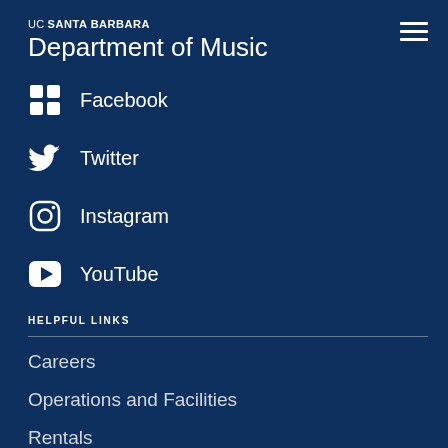UC SANTA BARBARA
Department of Music
Facebook
Twitter
Instagram
YouTube
HELPFUL LINKS
Careers
Operations and Facilities
Rentals